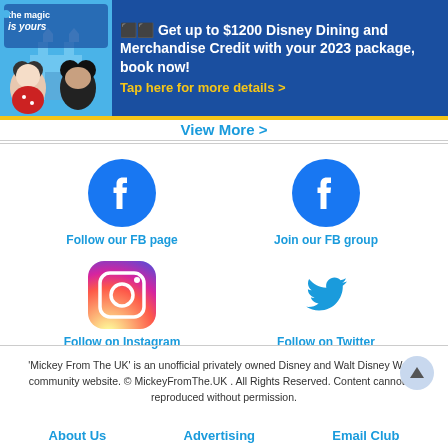[Figure (infographic): Disney promotional banner with blue background, yellow bottom border, Mickey and Minnie Mouse image on left, text on right: '🌟 Get up to $1200 Disney Dining and Merchandise Credit with your 2023 package, book now! Tap here for more details >']
View More >
[Figure (infographic): Social media icons grid: Facebook icon (Follow our FB page), Facebook icon (Join our FB group), Instagram icon (Follow on Instagram), Twitter bird icon (Follow on Twitter)]
'Mickey From The UK' is an unofficial privately owned Disney and Walt Disney World community website. © MickeyFromThe.UK . All Rights Reserved. Content cannot be reproduced without permission.
About Us   Advertising   Email Club